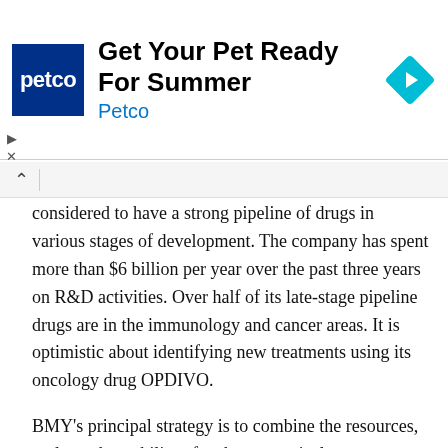[Figure (screenshot): Petco advertisement banner: 'Get Your Pet Ready For Summer' with Petco logo and navigation arrow icon]
considered to have a strong pipeline of drugs in various stages of development. The company has spent more than $6 billion per year over the past three years on R&D activities. Over half of its late-stage pipeline drugs are in the immunology and cancer areas. It is optimistic about identifying new treatments using its oncology drug OPDIVO.
BMY's principal strategy is to combine the resources, scale, and capability of a pharmaceutical company with the speed and focus on innovation of the biotech industry. Most of BMY's revenues come from products in the therapeutic